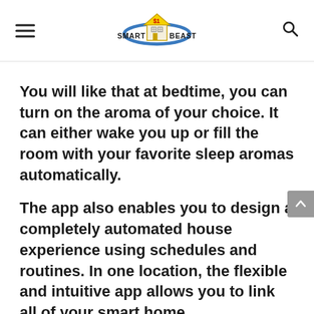Smart Home Beast
You will like that at bedtime, you can turn on the aroma of your choice. It can either wake you up or fill the room with your favorite sleep aromas automatically.
The app also enables you to design a completely automated house experience using schedules and routines. In one location, the flexible and intuitive app allows you to link all of your smart home